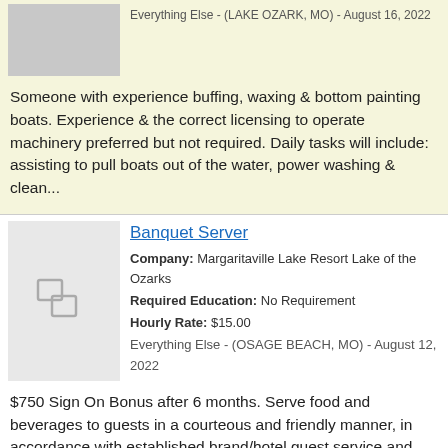Everything Else - (LAKE OZARK, MO) - August 16, 2022
Someone with experience buffing, waxing & bottom painting boats. Experience & the correct licensing to operate machinery preferred but not required. Daily tasks will include: assisting to pull boats out of the water, power washing & clean...
Banquet Server
Company: Margaritaville Lake Resort Lake of the Ozarks
Required Education: No Requirement
Hourly Rate: $15.00
Everything Else - (OSAGE BEACH, MO) - August 12, 2022
$750 Sign On Bonus after 6 months. Serve food and beverages to guests in a courteous and friendly manner, in accordance with established brand/hotel guest service and sustainability standards. Even if you have never worked as a banquet server don't w...